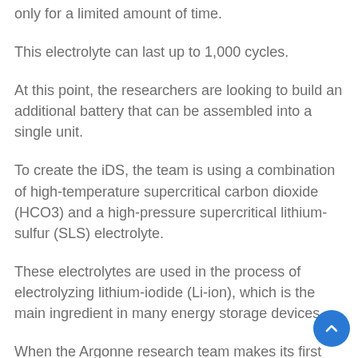only for a limited amount of time.
This electrolyte can last up to 1,000 cycles.
At this point, the researchers are looking to build an additional battery that can be assembled into a single unit.
To create the iDS, the team is using a combination of high-temperature supercritical carbon dioxide (HCO3) and a high-pressure supercritical lithium-sulfur (SLS) electrolyte.
These electrolytes are used in the process of electrolyzing lithium-iodide (Li-ion), which is the main ingredient in many energy storage devices.
When the Argonne research team makes its first production of an iES device, it will be able to provide